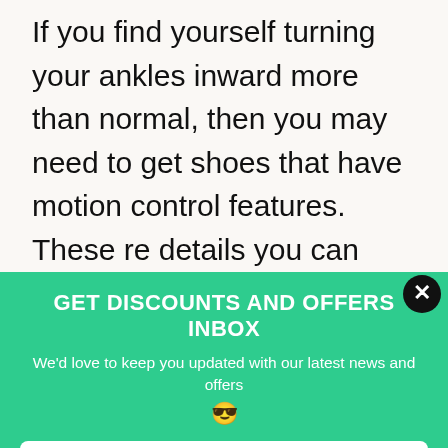If you find yourself turning your ankles inward more than normal, then you may need to get shoes that have motion control features. These re details you can usually find out by reading the label and also asking the shop assistant.
GET DISCOUNTS AND OFFERS INBOX
We'd love to keep you updated with our latest news and offers 😎
What's your name?